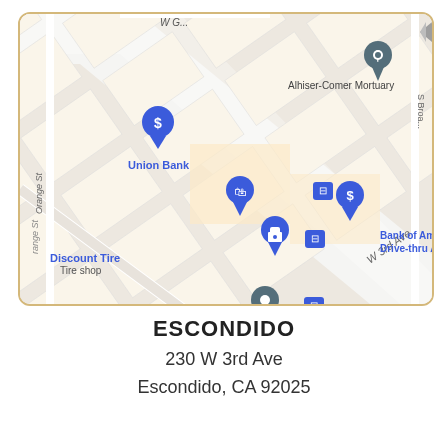[Figure (map): Google Maps street map centered on W 3rd Ave in Escondido, CA. Visible landmarks include Union Bank, Bank of America (with Drive-thru ATM), Discount Tire (Tire shop), Shadow Rock, Alhiser-Comer Mortuary, Matthew Wegrzyn (red pin), a 76 gas station, Savulitas Mexican Food, and a school (partially visible: 'Ce... Ele...'). Street labels visible include W 3rd Ave and Orange St. Blue transit icons and various map pins are shown.]
ESCONDIDO
230 W 3rd Ave
Escondido, CA 92025